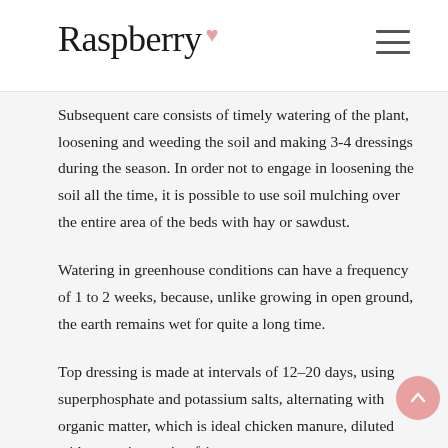Raspberry
Subsequent care consists of timely watering of the plant, loosening and weeding the soil and making 3-4 dressings during the season. In order not to engage in loosening the soil all the time, it is possible to use soil mulching over the entire area of the beds with hay or sawdust.
Watering in greenhouse conditions can have a frequency of 1 to 2 weeks, because, unlike growing in open ground, the earth remains wet for quite a long time.
Top dressing is made at intervals of 12–20 days, using superphosphate and potassium salts, alternating with organic matter, which is ideal chicken manure, diluted with water in a ratio of 1